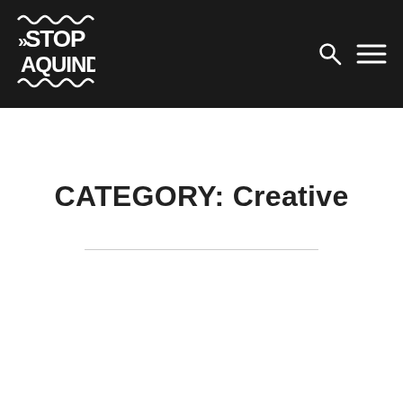[Figure (logo): Stop Aquind logo in white text on black background, stylized hand-drawn font]
CATEGORY: Creative